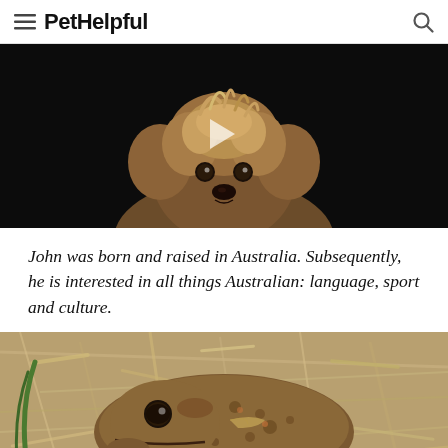PetHelpful
[Figure (photo): Yorkshire Terrier dog against a dark/black background, looking upward, video thumbnail with play button visible]
John was born and raised in Australia. Subsequently, he is interested in all things Australian: language, sport and culture.
[Figure (photo): A large brown toad (cane toad) sitting on dried grass and sticks on the ground, close-up photo]